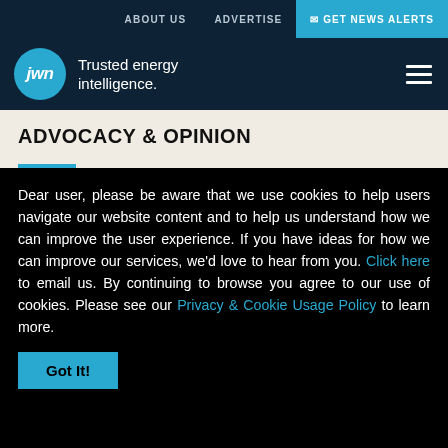ABOUT US   ADVERTISE   ✉ GET NEWS ALERTS
[Figure (logo): JWN logo — a cyan circle with 'jwn' in white italic text, beside the tagline 'Trusted energy intelligence.']
ADVOCACY & OPINION
Dear user, please be aware that we use cookies to help users navigate our website content and to help us understand how we can improve the user experience. If you have ideas for how we can improve our services, we'd love to hear from you. Click here to email us. By continuing to browse you agree to our use of cookies. Please see our Privacy & Cookie Usage Policy to learn more.
Got It!